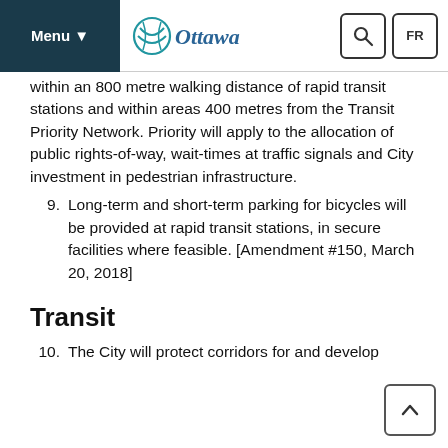Menu | Ottawa | Search | FR
within an 800 metre walking distance of rapid transit stations and within areas 400 metres from the Transit Priority Network. Priority will apply to the allocation of public rights-of-way, wait-times at traffic signals and City investment in pedestrian infrastructure.
9. Long-term and short-term parking for bicycles will be provided at rapid transit stations, in secure facilities where feasible. [Amendment #150, March 20, 2018]
Transit
10. The City will protect corridors for and develop the rapid transit network for existing and...